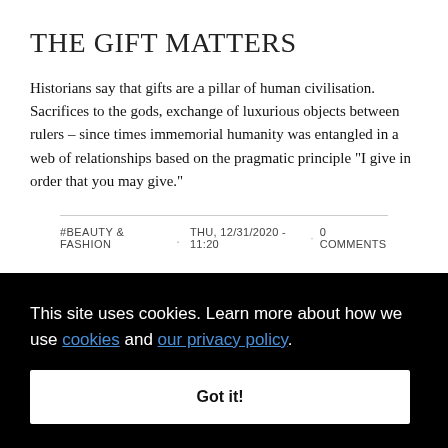THE GIFT MATTERS
Historians say that gifts are a pillar of human civilisation. Sacrifices to the gods, exchange of luxurious objects between rulers – since times immemorial humanity was entangled in a web of relationships based on the pragmatic principle "I give in order that you may give."
#BEAUTY & FASHION . THU, 12/31/2020 - 11:20 · 0 COMMENTS
This site uses cookies. Learn more about how we use cookies and our privacy policy. Got it!